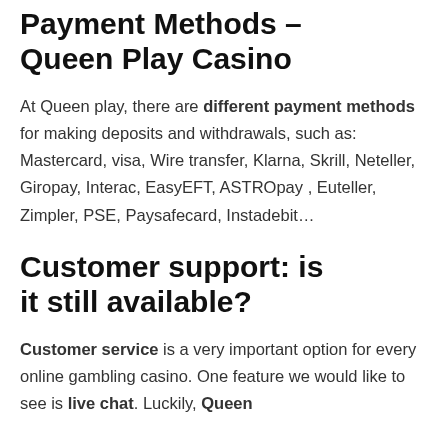Payment Methods – Queen Play Casino
At Queen play, there are different payment methods for making deposits and withdrawals, such as: Mastercard, visa, Wire transfer, Klarna, Skrill, Neteller, Giropay, Interac, EasyEFT, ASTROpay , Euteller, Zimpler, PSE, Paysafecard, Instadebit…
Customer support: is it still available?
Customer service is a very important option for every online gambling casino. One feature we would like to see is live chat. Luckily, Queen